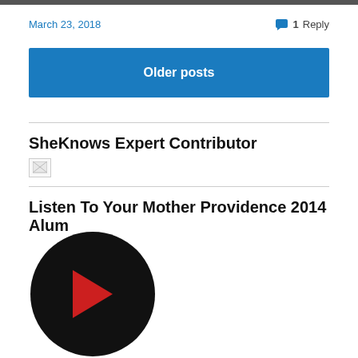[Figure (photo): Partial top image bar cropped at top of page]
March 23, 2018
1 Reply
Older posts
SheKnows Expert Contributor
[Figure (photo): Broken/missing image placeholder]
Listen To Your Mother Providence 2014 Alum
[Figure (logo): Black circular logo with red chevron element, partially visible at bottom]